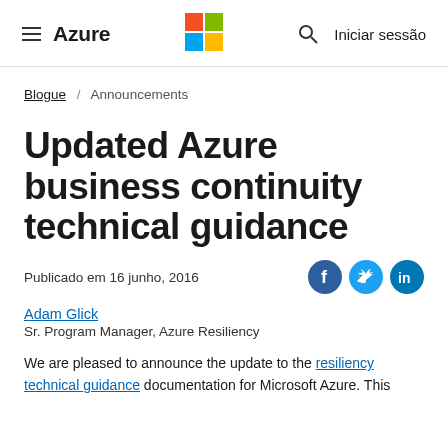≡ Azure   [Microsoft Logo]   🔍   Iniciar sessão
Blogue / Announcements
Updated Azure business continuity technical guidance
Publicado em 16 junho, 2016
Adam Glick
Sr. Program Manager, Azure Resiliency
We are pleased to announce the update to the resiliency technical guidance documentation for Microsoft Azure. This